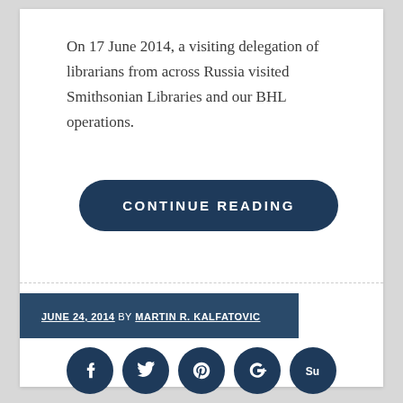On 17 June 2014, a visiting delegation of librarians from across Russia visited Smithsonian Libraries and our BHL operations.
CONTINUE READING
JUNE 24, 2014 BY MARTIN R. KALFATOVIC
[Figure (other): Row of five dark navy circular social media share buttons: Facebook (f), Twitter (bird), Pinterest (P), Google+ (G+), StumbleUpon (su)]